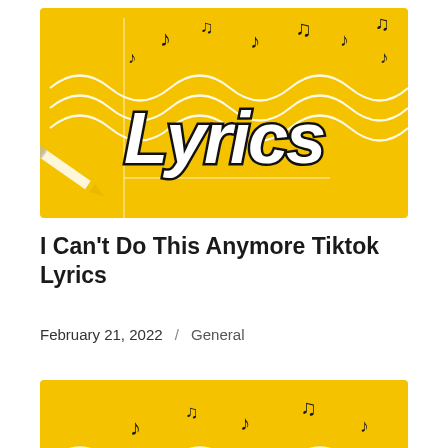[Figure (illustration): Yellow background with musical notes scattered around and a white pencil drawing wavy lines. Bold black script text reads 'Lyrics' in the center.]
I Can't Do This Anymore Tiktok Lyrics
February 21, 2022 / General
[Figure (illustration): Partial second yellow thumbnail with musical notes and white wavy lines, cut off at bottom of page.]